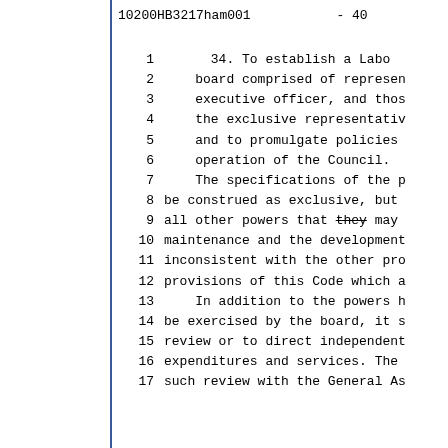10200HB3217ham001          - 40
1        34. To establish a Labo
2      board comprised of represen
3      executive officer, and thos
4      the exclusive representativ
5      and to promulgate policies
6      operation of the Council.
7      The specifications of the p
8  be construed as exclusive, but
9  all other powers that they may
10  maintenance and the development
11  inconsistent with the other pro
12  provisions of this Code which a
13      In addition to the powers h
14  be exercised by the board, it s
15  review or to direct independent
16  expenditures and services. The
17  such review with the General As